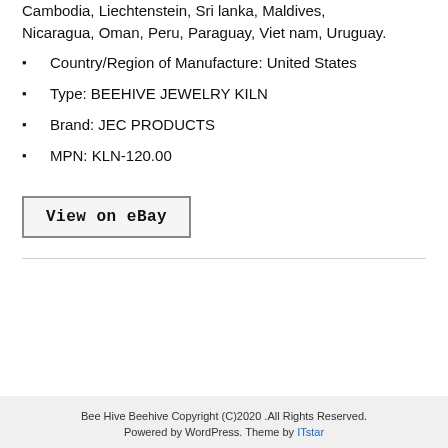Cambodia, Liechtenstein, Sri lanka, Maldives, Nicaragua, Oman, Peru, Paraguay, Viet nam, Uruguay.
Country/Region of Manufacture: United States
Type: BEEHIVE JEWELRY KILN
Brand: JEC PRODUCTS
MPN: KLN-120.00
[Figure (screenshot): Button labeled 'View on eBay' with border]
Bee Hive Beehive Copyright (C)2020 .All Rights Reserved. Powered by WordPress. Theme by ITstar